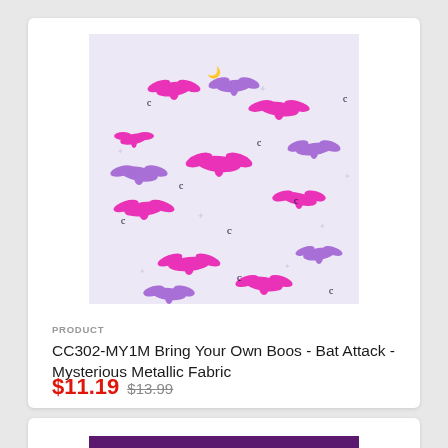[Figure (photo): Fabric swatch showing pink and purple bats, crescent moons on a light lavender background - Bring Your Own Boos Bat Attack Mysterious Metallic Fabric]
PRODUCT
CC302-MY1M Bring Your Own Boos - Bat Attack - Mysterious Metallic Fabric
$11.19 $13.99
[Figure (photo): Second product fabric swatch with purple background showing Halloween houses and ghosts]